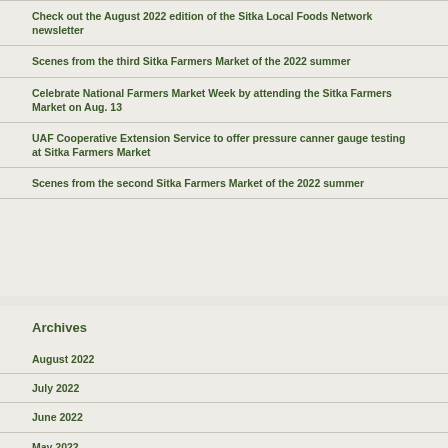Check out the August 2022 edition of the Sitka Local Foods Network newsletter
Scenes from the third Sitka Farmers Market of the 2022 summer
Celebrate National Farmers Market Week by attending the Sitka Farmers Market on Aug. 13
UAF Cooperative Extension Service to offer pressure canner gauge testing at Sitka Farmers Market
Scenes from the second Sitka Farmers Market of the 2022 summer
Archives
August 2022
July 2022
June 2022
May 2022
April 2022